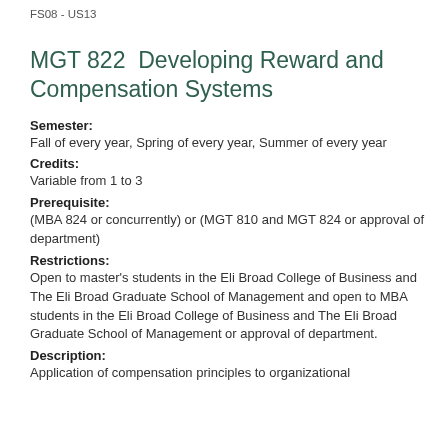FS08 - US13
MGT 822  Developing Reward and Compensation Systems
Semester:
Fall of every year, Spring of every year, Summer of every year
Credits:
Variable from 1 to 3
Prerequisite:
(MBA 824 or concurrently) or (MGT 810 and MGT 824 or approval of department)
Restrictions:
Open to master's students in the Eli Broad College of Business and The Eli Broad Graduate School of Management and open to MBA students in the Eli Broad College of Business and The Eli Broad Graduate School of Management or approval of department.
Description:
Application of compensation principles to organizational